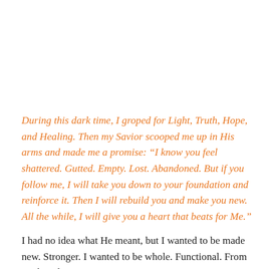During this dark time, I groped for Light, Truth, Hope, and Healing. Then my Savior scooped me up in His arms and made me a promise: “I know you feel shattered. Gutted. Empty. Lost. Abandoned. But if you follow me, I will take you down to your foundation and reinforce it. Then I will rebuild you and make you new. All the while, I will give you a heart that beats for Me.”
I had no idea what He meant, but I wanted to be made new. Stronger. I wanted to be whole. Functional. From my hopeless